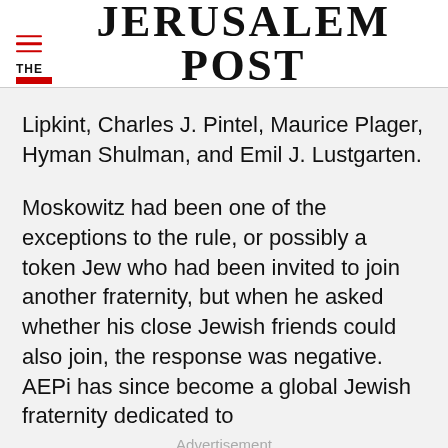THE JERUSALEM POST
Lipkint, Charles J. Pintel, Maurice Plager, Hyman Shulman, and Emil J. Lustgarten.
Moskowitz had been one of the exceptions to the rule, or possibly a token Jew who had been invited to join another fraternity, but when he asked whether his close Jewish friends could also join, the response was negative. AEPi has since become a global Jewish fraternity dedicated to
Advertisement